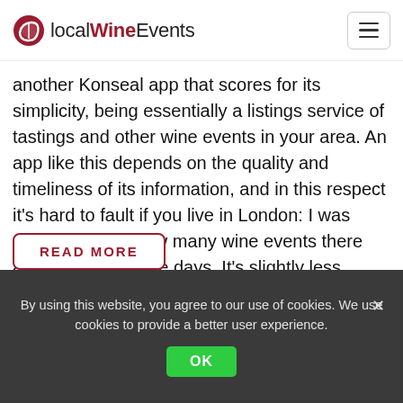localWineEvents
another Konseal app that scores for its simplicity, being essentially a listings service of tastings and other wine events in your area. An app like this depends on the quality and timeliness of its information, and in this respect it's hard to fault if you live in London: I was amazed at just how many wine events there are in the city these days. It's slightly less impressive if you're on holiday or visiting wine regions overseas: just 10 events came up for the next year in wine-mad Bordeaux, for example, and there were none at all for Barcelona.
READ MORE
By using this website, you agree to our use of cookies. We use cookies to provide a better user experience.